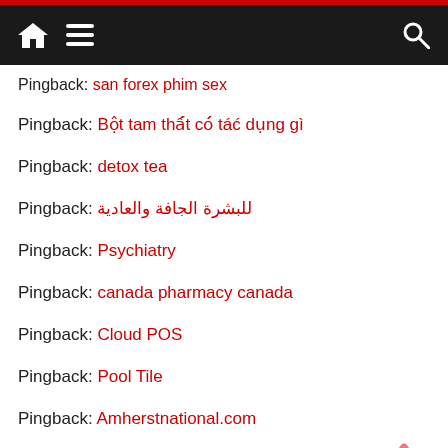Navigation bar with home, menu, and search icons
Pingback: san forex phim sex
Pingback: Bột tam thất có tác dụng gì
Pingback: detox tea
Pingback: للبشرة الجافة والعادية
Pingback: Psychiatry
Pingback: canada pharmacy canada
Pingback: Cloud POS
Pingback: Pool Tile
Pingback: Amherstnational.com
Pingback: Personlig gave
Pingback: https://...